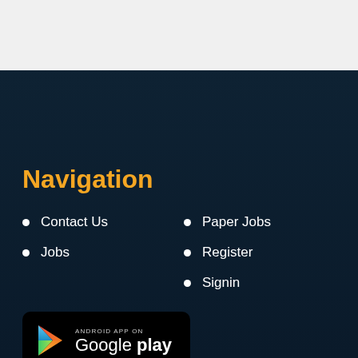Navigation
Contact Us
Jobs
Paper Jobs
Register
Signin
[Figure (logo): Android App on Google Play badge]
Download the app and find the latest Government jobs in Pakistan, Private jobs in Pakistan and today newspaper jobs